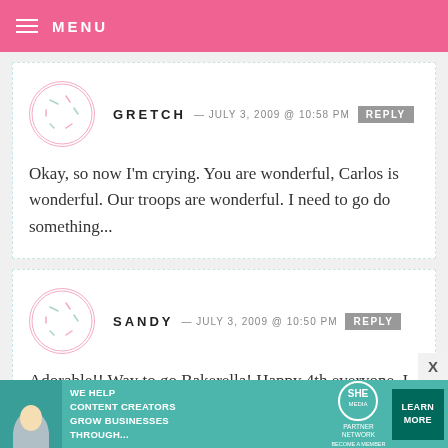MENU
GRETCH — JULY 3, 2009 @ 10:58 PM  REPLY
Okay, so now I'm crying. You are wonderful, Carlos is wonderful. Our troops are wonderful. I need to go do something...
SANDY — JULY 3, 2009 @ 10:50 PM  REPLY
Adorable!! Way to go Bakerella! Happy 4th everyone. I am so grateful for our
[Figure (infographic): Advertisement banner: WE HELP CONTENT CREATORS GROW BUSINESSES THROUGH... SHE PARTNER NETWORK BECOME A MEMBER. LEARN MORE button.]